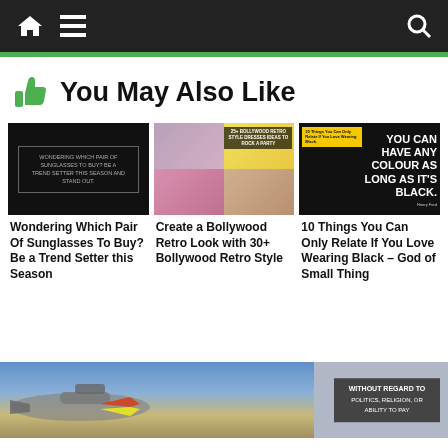Navigation bar with home, menu, and search icons
You May Also Like
[Figure (screenshot): Thumbnail image for article about sunglasses - black background with text overlay]
Wondering Which Pair Of Sunglasses To Buy? Be a Trend Setter this Season
[Figure (photo): Collage of Bollywood retro style dresses]
Create a Bollywood Retro Look with 30+ Bollywood Retro Style Dresses
[Figure (screenshot): Black background with Henry Ford quote: YOU CAN HAVE ANY COLOUR AS LONG AS IT'S BLACK.]
10 Things You Can Only Relate If You Love Wearing Black – God of Small Thing
[Figure (photo): Advertisement banner showing airplane being loaded with cargo, with text WITHOUT REGARD TO POLITICS, RELIGION, OR ABILITY TO PAY]